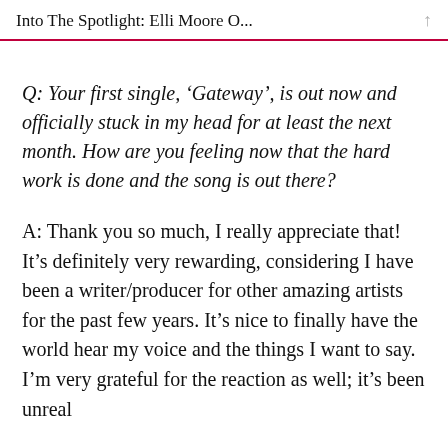Into The Spotlight: Elli Moore O...
Q: Your first single, ‘Gateway’, is out now and officially stuck in my head for at least the next month. How are you feeling now that the hard work is done and the song is out there?
A: Thank you so much, I really appreciate that! It’s definitely very rewarding, considering I have been a writer/producer for other amazing artists for the past few years. It’s nice to finally have the world hear my voice and the things I want to say. I’m very grateful for the reaction as well; it’s been unreal